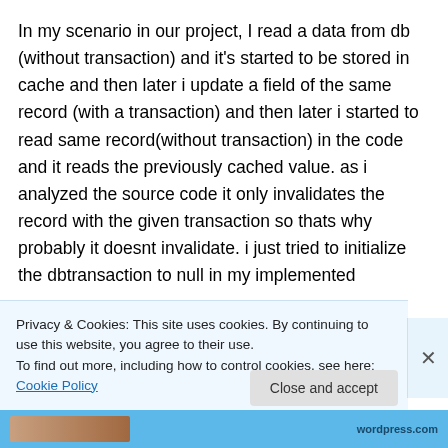In my scenario in our project, I read a data from db (without transaction) and it's started to be stored in cache and then later i update a field of the same record (with a transaction) and then later i started to read same record(without transaction) in the code and it reads the previously cached value. as i analyzed the source code it only invalidates the record with the given transaction so thats why probably it doesnt invalidate. i just tried to initialize the dbtransaction to null in my implemented
Privacy & Cookies: This site uses cookies. By continuing to use this website, you agree to their use.
To find out more, including how to control cookies, see here: Cookie Policy
Close and accept